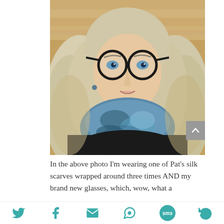[Figure (photo): A woman with long blonde/grey wavy hair wearing round black glasses, a black top, and a blue silk scarf wrapped around her neck. She is smiling at the camera. The background shows a wood-floored interior.]
In the above photo I'm wearing one of Pat's silk scarves wrapped around three times AND my brand new glasses, which, wow, what a
[Figure (other): Social sharing icons bar: Twitter bird, Facebook f, Email envelope, WhatsApp, SMS badge, and a refresh/share icon — all in teal color]